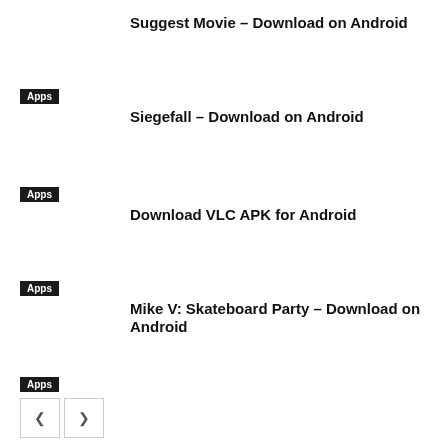Suggest Movie – Download on Android
Apps
Siegefall – Download on Android
Apps
Download VLC APK for Android
Apps
Mike V: Skateboard Party – Download on Android
Apps